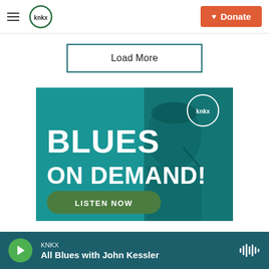KNKX | Donate
Load More
[Figure (photo): KNKX Blues on Demand advertisement banner featuring a man singing into a microphone with a teal overlay, KNKX logo in upper right, 'BLUES ON DEMAND!' text in large white bold font, and a green 'LISTEN NOW' button]
KNKX | All Blues with John Kessler